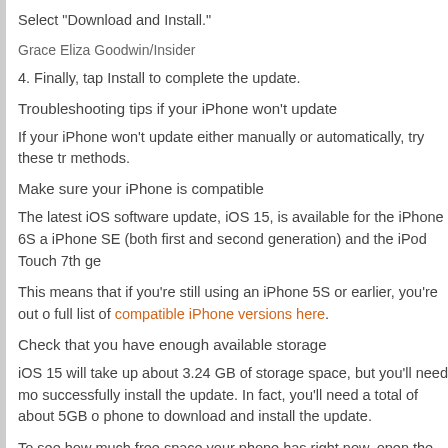Select "Download and Install."
Grace Eliza Goodwin/Insider
4. Finally, tap Install to complete the update.
Troubleshooting tips if your iPhone won't update
If your iPhone won't update either manually or automatically, try these tr methods.
Make sure your iPhone is compatible
The latest iOS software update, iOS 15, is available for the iPhone 6S a iPhone SE (both first and second generation) and the iPod Touch 7th ge
This means that if you're still using an iPhone 5S or earlier, you're out o full list of compatible iPhone versions here.
Check that you have enough available storage
iOS 15 will take up about 3.24 GB of storage space, but you'll need mo successfully install the update. In fact, you'll need a total of about 5GB o phone to download and install the update.
To see how much free space your phone has right now, open the Settin and select iPhone Storage. The amount of storage you have available v the iPhone Storage page.